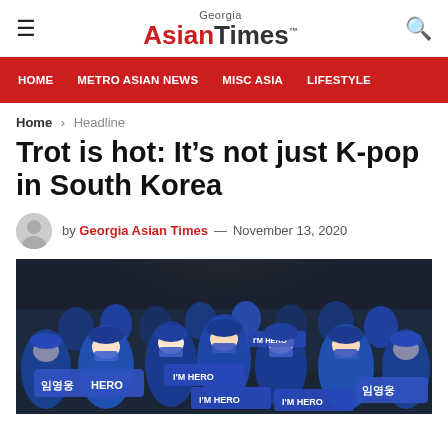Georgia Asian Times
HOME  METRO ASIAN NEWS  MISC ASIA  LIFESTYLE
Home > Headline
Trot is hot: It’s not just K-pop in South Korea
by Georgia Asian Times — November 13, 2020
[Figure (photo): Group of fans wearing blue outfits and face masks, holding blue banners with Korean text and 'I'M HERO' in a theater/concert hall setting]